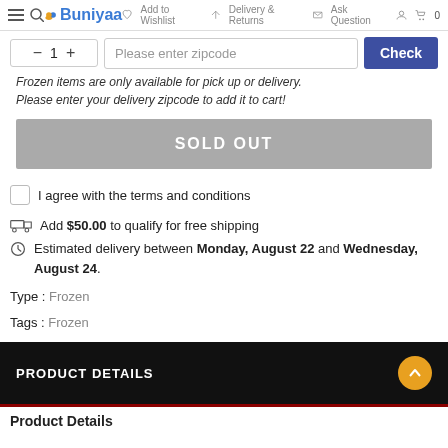Add to Wishlist  Delivery & Returns  Ask Question  Buniyaa  0
Please enter zipcode  Check
Frozen items are only available for pick up or delivery. Please enter your delivery zipcode to add it to cart!
SOLD OUT
I agree with the terms and conditions
Add $50.00 to qualify for free shipping
Estimated delivery between Monday, August 22 and Wednesday, August 24.
Type : Frozen
Tags : Frozen
PRODUCT DETAILS
Product Details